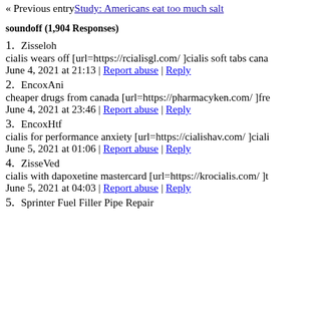« Previous entry Study: Americans eat too much salt
soundoff (1,904 Responses)
1. Zisseloh
cialis wears off [url=https://rcialisgl.com/ ]cialis soft tabs cana
June 4, 2021 at 21:13 | Report abuse | Reply
2. EncoxAni
cheaper drugs from canada [url=https://pharmacyken.com/ ]fre
June 4, 2021 at 23:46 | Report abuse | Reply
3. EncoxHtf
cialis for performance anxiety [url=https://cialishav.com/ ]ciali
June 5, 2021 at 01:06 | Report abuse | Reply
4. ZisseVed
cialis with dapoxetine mastercard [url=https://krocialis.com/ ]t
June 5, 2021 at 04:03 | Report abuse | Reply
5. Sprinter Fuel Filler Pipe Repair